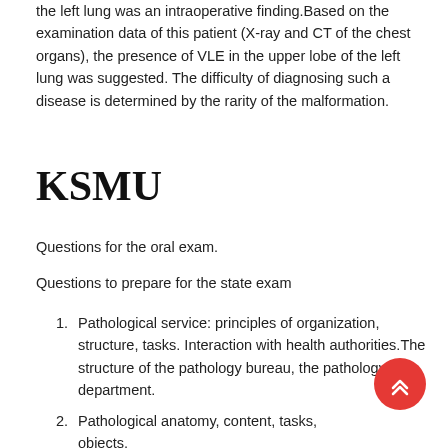the left lung was an intraoperative finding.Based on the examination data of this patient (X-ray and CT of the chest organs), the presence of VLE in the upper lobe of the left lung was suggested. The difficulty of diagnosing such a disease is determined by the rarity of the malformation.
KSMU
Questions for the oral exam.
Questions to prepare for the state exam
1. Pathological service: principles of organization, structure, tasks. Interaction with health authorities.The structure of the pathology bureau, the pathology department.
2. Pathological anatomy, content, tasks, objects, methods. Clinical and anatomical directions.